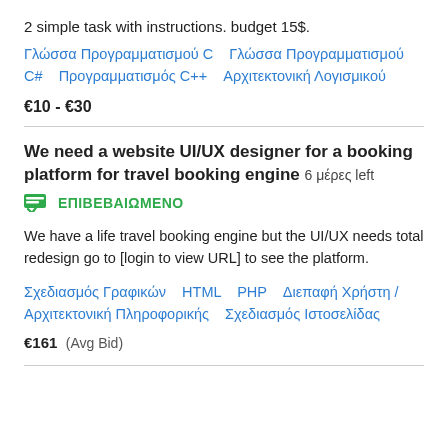2 simple task with instructions. budget 15$.
Γλώσσα Προγραμματισμού C   Γλώσσα Προγραμματισμού C#   Προγραμματισμός C++   Αρχιτεκτονική Λογισμικού
€10 - €30
We need a website UI/UX designer for a booking platform for travel booking engine  6 μέρες left
ΕΠΙΒΕΒΑΙΩΜΕΝΟ
We have a life travel booking engine but the UI/UX needs total redesign go to [login to view URL] to see the platform.
Σχεδιασμός Γραφικών   HTML   PHP   Διεπαφή Χρήστη / Αρχιτεκτονική Πληροφορικής   Σχεδιασμός Ιστοσελίδας
€161  (Avg Bid)